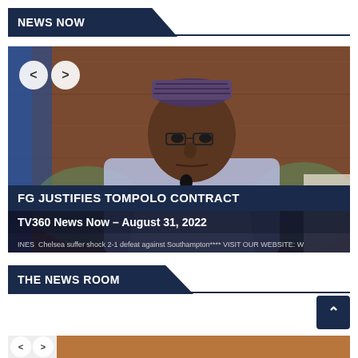NEWS NOW
[Figure (screenshot): TV news screenshot showing a man in traditional Nigerian attire seated at a meeting. Lower third overlay reads 'FG JUSTIFIES TOMPOLO CONTRACT'. Subtitle reads 'TV360 News Now – August 31, 2022'. Navigation arrows visible top-left. Ticker text: 'INES  Chelsea suffer shock 2-1 defeat against Southampton**** VISIT OUR WEBSITE: W']
THE NEWS ROOM